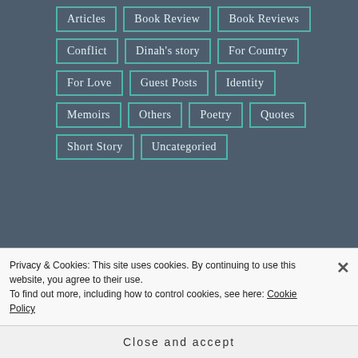Articles
Book Review
Book Reviews
Conflict
Dinah's story
For Country
For Love
Guest Posts
Identity
Memoirs
Others
Poetry
Quotes
Short Story
Uncategoried
COMMUNITY
Privacy & Cookies: This site uses cookies. By continuing to use this website, you agree to their use.
To find out more, including how to control cookies, see here: Cookie Policy
Close and accept